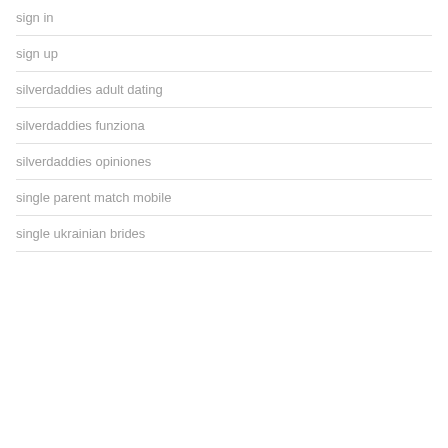sign in
sign up
silverdaddies adult dating
silverdaddies funziona
silverdaddies opiniones
single parent match mobile
single ukrainian brides